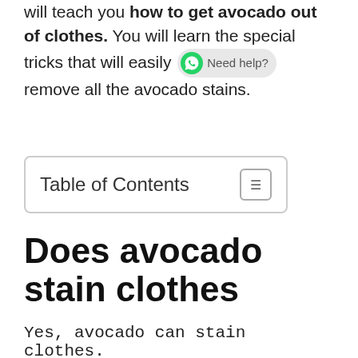will teach you how to get avocado out of clothes. You will learn the special tricks that will easily remove all the avocado stains.
Table of Contents
Does avocado stain clothes
Yes, avocado can stain clothes.